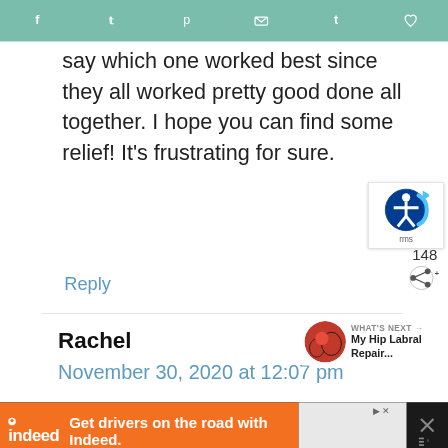[Figure (screenshot): Social sharing bar with icons for Facebook, Twitter, Pinterest, Email, Tumblr, and heart/save]
say which one worked best since they all worked pretty good done all together. I hope you can find some relief! It's frustrating for sure.
Reply
[Figure (logo): Accessibility icon widget with circular blue icon and arrow]
148
Rachel
November 30, 2020 at 12:07 pm
[Figure (screenshot): What's Next promo with thumbnail image and text 'My Hip Labral Repair...']
[Figure (screenshot): Indeed advertisement: Get drivers on the road with Indeed.]